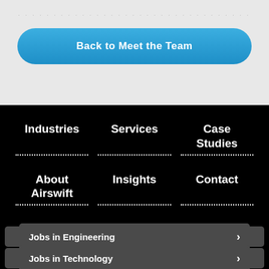[Figure (other): Dotted progress/pagination indicator row]
Back to Meet the Team
Industries
Services
Case Studies
About Airswift
Insights
Contact
Job Board
Jobs in Engineering
Jobs in Technology